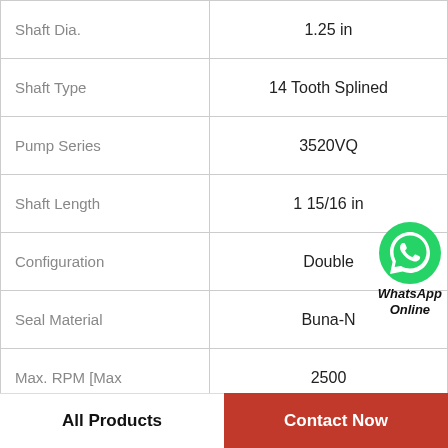| Property | Value |
| --- | --- |
| Shaft Dia. | 1.25 in |
| Shaft Type | 14 Tooth Splined |
| Pump Series | 3520VQ |
| Shaft Length | 1 15/16 in |
| Configuration | Double |
| Seal Material | Buna-N |
| Max. RPM [Max | 2500 |
| Minor Diameter | 1.04 in |
[Figure (illustration): WhatsApp Online contact button with green phone icon]
All Products
Contact Now